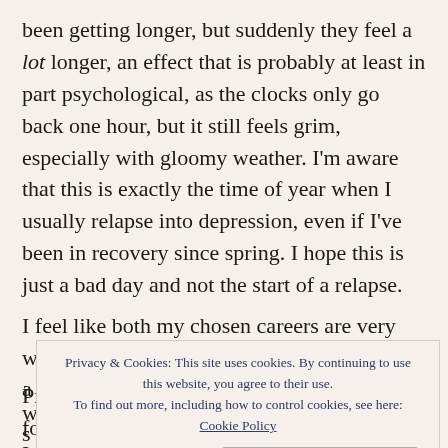been getting longer, but suddenly they feel a lot longer, an effect that is probably at least in part psychological, as the clocks only go back one hour, but it still feels grim, especially with gloomy weather. I'm aware that this is exactly the time of year when I usually relapse into depression, even if I've been in recovery since spring. I hope this is just a bad day and not the start of a relapse.
I feel like both my chosen careers are very woke a... w... s... I...
Privacy & Cookies: This site uses cookies. By continuing to use this website, you agree to their use. To find out more, including how to control cookies, see here: Cookie Policy
Professionals) on children's books, very focused on